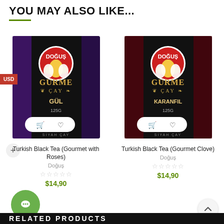YOU MAY ALSO LIKE...
[Figure (photo): Doğuş Gurme Çay Gül (Rose) 125g Turkish Black Tea product box - black box with purple decorative pattern and Doğuş logo]
[Figure (photo): Doğuş Gurme Çay Karanfil (Clove) 125g Turkish Black Tea product box - black box with dark red decorative pattern and Doğuş logo]
Turkish Black Tea (Gourmet with Roses)
Doğuş
$14,90
Turkish Black Tea (Gourmet Clove)
Doğuş
$14,90
RELATED PRODUCTS